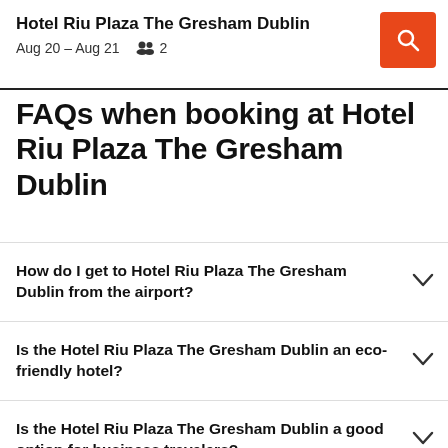Hotel Riu Plaza The Gresham Dublin
Aug 20 – Aug 21  2
FAQs when booking at Hotel Riu Plaza The Gresham Dublin
How do I get to Hotel Riu Plaza The Gresham Dublin from the airport?
Is the Hotel Riu Plaza The Gresham Dublin an eco-friendly hotel?
Is the Hotel Riu Plaza The Gresham Dublin a good option for business travelers?
What can I have for breakfast at Hotel Riu Plaza The Gresham Dublin?